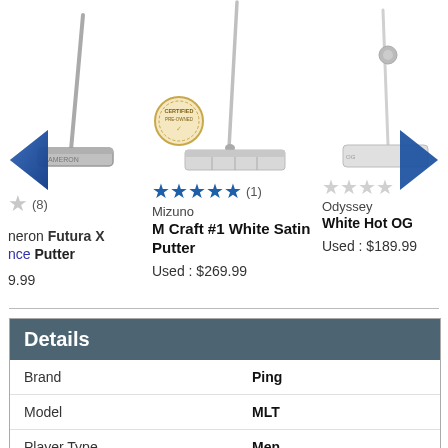[Figure (screenshot): Product carousel showing three golf putters: left (partially visible) Scotty Cameron Futura X Balance Putter, center Mizuno M Craft #1 White Satin Putter with 5-star rating (1 review) priced Used: $269.99, right (partially visible) Odyssey White Hot OG putter priced Used: $189.99]
| Field | Value |
| --- | --- |
| Brand | Ping |
| Model | MLT |
| Player Type | Men |